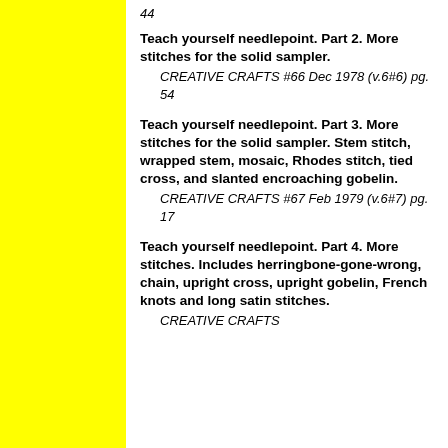44
Teach yourself needlepoint. Part 2. More stitches for the solid sampler.
    CREATIVE CRAFTS #66 Dec 1978 (v.6#6) pg. 54
Teach yourself needlepoint. Part 3. More stitches for the solid sampler. Stem stitch, wrapped stem, mosaic, Rhodes stitch, tied cross, and slanted encroaching gobelin.
    CREATIVE CRAFTS #67 Feb 1979 (v.6#7) pg. 17
Teach yourself needlepoint. Part 4. More stitches. Includes herringbone-gone-wrong, chain, upright cross, upright gobelin, French knots and long satin stitches.
    CREATIVE CRAFTS